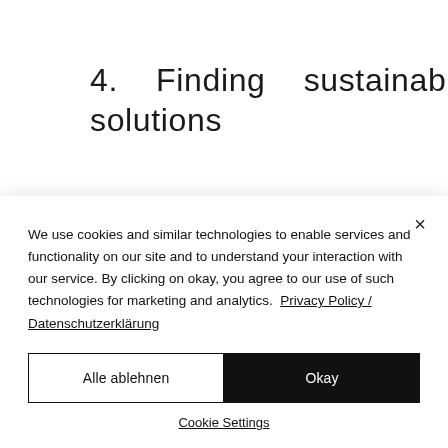4.    Finding    sustainable solutions
There’s no doubt: sustainable growth is the basis of increased transportation and
We use cookies and similar technologies to enable services and functionality on our site and to understand your interaction with our service. By clicking on okay, you agree to our use of such technologies for marketing and analytics.  Privacy Policy / Datenschutzerklärung
Alle ablehnen
Okay
Cookie Settings